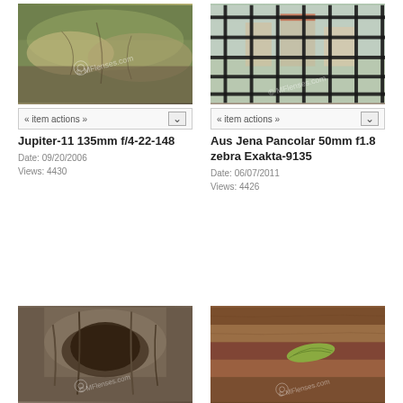[Figure (photo): Mossy rock / tree bark close-up with MFlenses.com watermark]
« item actions »
Jupiter-11 135mm f/4-22-148
Date: 09/20/2006
Views: 4430
[Figure (photo): Black iron grid window with town buildings visible behind, MFlenses.com watermark]
« item actions »
Aus Jena Pancolar 50mm f1.8 zebra Exakta-9135
Date: 06/07/2011
Views: 4426
[Figure (photo): Tree stump close-up with MFlenses.com watermark]
[Figure (photo): Wood planks with green leaf and MFlenses.com watermark]